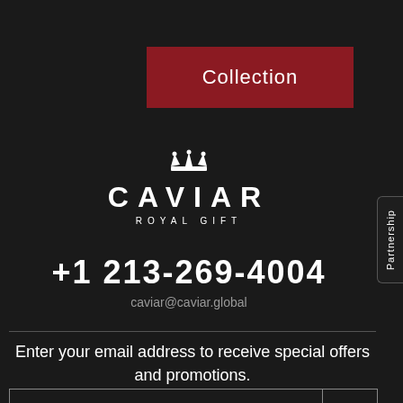Collection
[Figure (logo): Caviar Royal Gift logo with crown icon above stylized CAVIAR text and ROYAL GIFT subtitle]
+1 213-269-4004
caviar@caviar.global
Enter your email address to receive special offers and promotions.
Your E-mail or phone
OK
[Figure (logo): Instagram icon (camera) in white square]
[Figure (logo): YouTube icon in white square]
Partnership